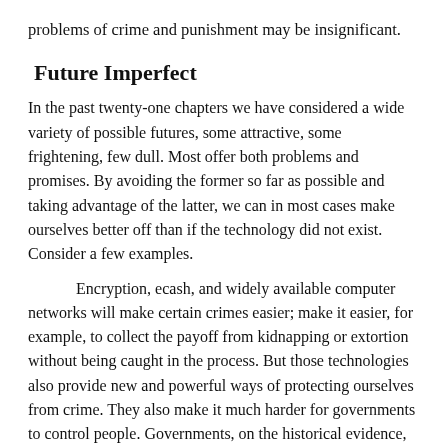problems of crime and punishment may be insignificant.
Future Imperfect
In the past twenty-one chapters we have considered a wide variety of possible futures, some attractive, some frightening, few dull. Most offer both problems and promises. By avoiding the former so far as possible and taking advantage of the latter, we can in most cases make ourselves better off than if the technology did not exist. Consider a few examples.
Encryption, ecash, and widely available computer networks will make certain crimes easier; make it easier, for example, to collect the payoff from kidnapping or extortion without being caught in the process. But those technologies also provide new and powerful ways of protecting ourselves from crime. They also make it much harder for governments to control people. Governments, on the historical evidence, are a great deal more dangerous than